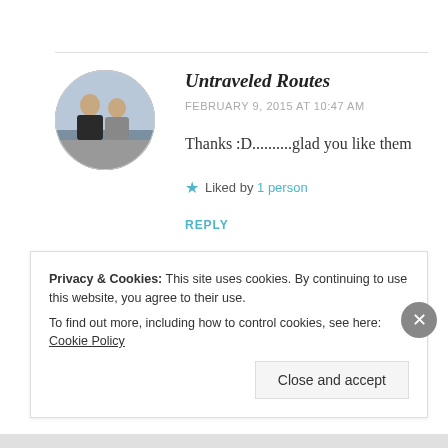[Figure (photo): Circular avatar photo showing two people outdoors]
Untraveled Routes
FEBRUARY 9, 2015 AT 10:47 AM
Thanks :D..........glad you like them
★ Liked by 1 person
REPLY
Privacy & Cookies: This site uses cookies. By continuing to use this website, you agree to their use.
To find out more, including how to control cookies, see here: Cookie Policy